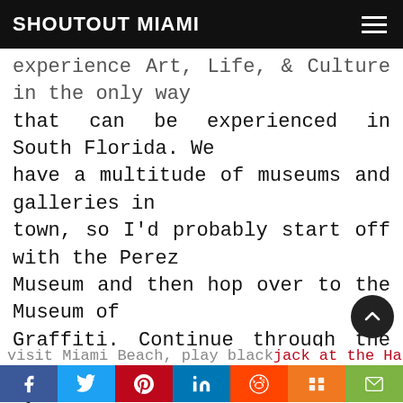SHOUTOUT MIAMI
experience Art, Life, & Culture in the only way that can be experienced in South Florida. We have a multitude of museums and galleries in town, so I'd probably start off with the Perez Museum and then hop over to the Museum of Graffiti. Continue through the streets of Wynwood to view all the beautiful art that adorn our streets. We would definitely spend some time at the historic Versailles for some cafecito with the patriots, but won't forget to hit up any of the local spots like Coyo Taco and Cafe La Trova to finish a night out on the town. Theres so much to do and enjoy in this town,
visit Miami Beach, play blackjack at the Hard Rock, and awe in splendor when you walk the